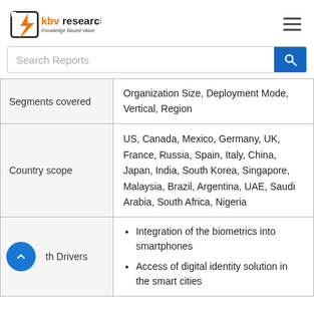[Figure (logo): KBV Research logo with orange lightning bolt icon and text 'kbv research – Knowledge Based Value']
| Label | Value |
| --- | --- |
| Segments covered | Organization Size, Deployment Mode, Vertical, Region |
| Country scope | US, Canada, Mexico, Germany, UK, France, Russia, Spain, Italy, China, Japan, India, South Korea, Singapore, Malaysia, Brazil, Argentina, UAE, Saudi Arabia, South Africa, Nigeria |
| Growth Drivers | • Integration of the biometrics into smartphones
• Access of digital identity solution in the smart cities |